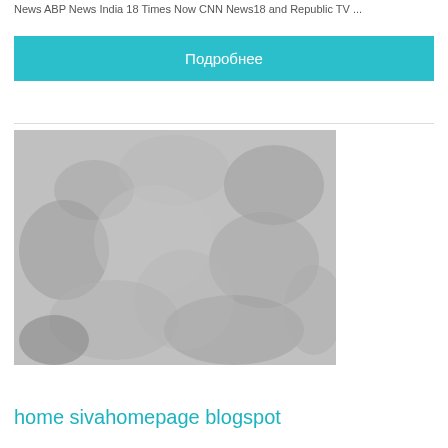News ABP News India 18 Times Now CNN News18 and Republic TV ...
Подробнее
[Figure (photo): Close-up black and white photograph of a granular or rocky textured surface, possibly mineral or powder material]
home sivahomepage blogspot